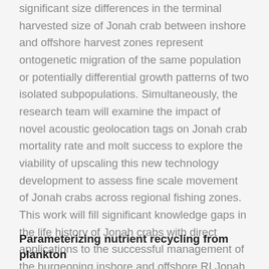significant size differences in the terminal harvested size of Jonah crab between inshore and offshore harvest zones represent ontogenetic migration of the same population or potentially differential growth patterns of two isolated subpopulations. Simultaneously, the research team will examine the impact of novel acoustic geolocation tags on Jonah crab mortality rate and molt success to explore the viability of upscaling this new technology development to assess fine scale movement of Jonah crabs across regional fishing zones. This work will fill significant knowledge gaps in the life history of Jonah crabs with direct applications to the successful management of the burgeoning inshore and offshore RI Jonah crab fishery.
Parameterizing nutrient recycling from plankton